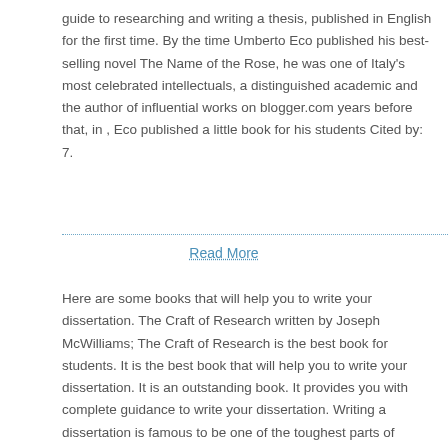guide to researching and writing a thesis, published in English for the first time. By the time Umberto Eco published his best-selling novel The Name of the Rose, he was one of Italy's most celebrated intellectuals, a distinguished academic and the author of influential works on blogger.com years before that, in , Eco published a little book for his students Cited by: 7.
Read More
Here are some books that will help you to write your dissertation. The Craft of Research written by Joseph McWilliams; The Craft of Research is the best book for students. It is the best book that will help you to write your dissertation. It is an outstanding book. It provides you with complete guidance to write your dissertation. Writing a dissertation is famous to be one of the toughest parts of graduate school. Not only is it something you've by no means executed before, it's a large